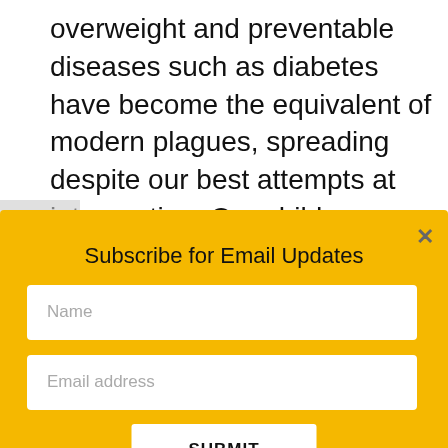overweight and preventable diseases such as diabetes have become the equivalent of modern plagues, spreading despite our best attempts at intervention. Our children are the most at risk, as the current generation is projected to be the first not to outlive their parents.
Subscribe for Email Updates
Name
Email address
SUBMIT